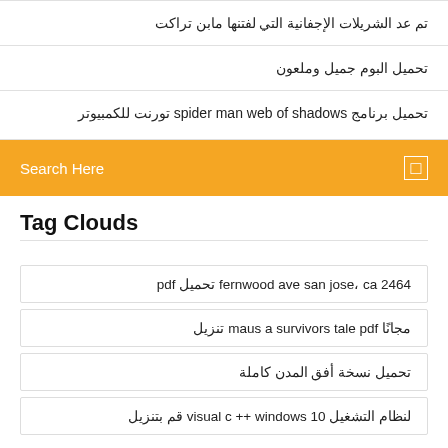تم عد الشريلات الإجفانية التي لفتنها مابن تراكت
تحميل البوم جميل وملعون
تحميل برنامج spider man web of shadows تورنت للكمبيوتر
Search Here
Tag Clouds
2464 fernwood ave san jose، ca تحميل pdf
مجانًا maus a survivors tale pdf تنزيل
تحميل نسخة أفق المدن كاملة
لنظام التشغيل visual c ++ windows 10 قم بتنزيل